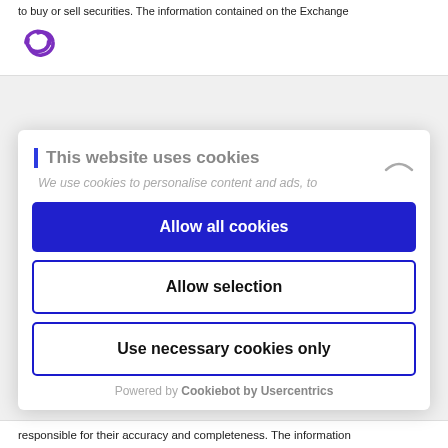to buy or sell securities. The information contained on the Exchange
[Figure (logo): Purple stylized logo icon resembling interconnected arrows or loops]
This website uses cookies
We use cookies to personalise content and ads, to
Allow all cookies
Allow selection
Use necessary cookies only
Powered by Cookiebot by Usercentrics
responsible for their accuracy and completeness. The information